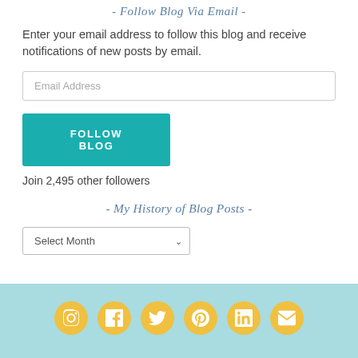- Follow Blog Via Email -
Enter your email address to follow this blog and receive notifications of new posts by email.
Email Address
FOLLOW BLOG
Join 2,495 other followers
- My History of Blog Posts -
Select Month
[Figure (infographic): Social media icon row: Instagram, Facebook, Twitter, Pinterest, LinkedIn, Email — yellow circular icons on teal background]